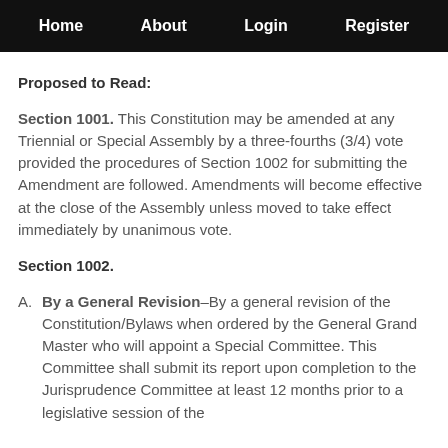Home   About   Login   Register
Proposed to Read:
Section 1001. This Constitution may be amended at any Triennial or Special Assembly by a three-fourths (3/4) vote provided the procedures of Section 1002 for submitting the Amendment are followed. Amendments will become effective at the close of the Assembly unless moved to take effect immediately by unanimous vote.
Section 1002.
A. By a General Revision–By a general revision of the Constitution/Bylaws when ordered by the General Grand Master who will appoint a Special Committee. This Committee shall submit its report upon completion to the Jurisprudence Committee at least 12 months prior to a legislative session of the